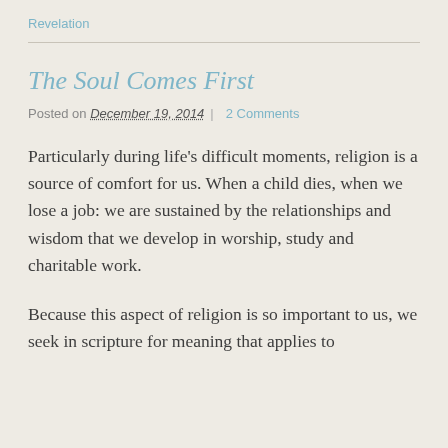Revelation
The Soul Comes First
Posted on December 19, 2014 | 2 Comments
Particularly during life's difficult moments, religion is a source of comfort for us. When a child dies, when we lose a job: we are sustained by the relationships and wisdom that we develop in worship, study and charitable work.
Because this aspect of religion is so important to us, we seek in scripture for meaning that applies to